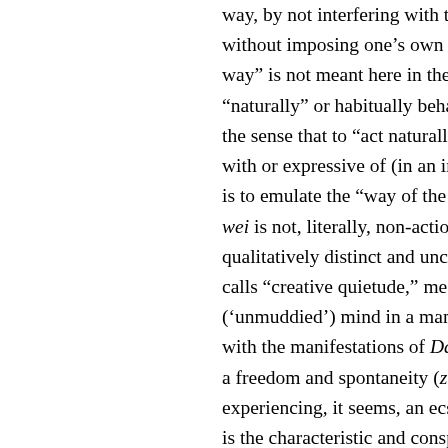way, by not interfering with the patte without imposing one's own intention way" is not meant here in the sense o "naturally" or habitually behave or a the sense that to "act naturally" in the with or expressive of (in an immanent is to emulate the "way of the natural wei is not, literally, non-action or not- qualitatively distinct and uncommon calls "creative quietude," meaning or ('unmuddied') mind in a manner that with the manifestations of Dao in the a freedom and spontaneity (ziran) tha experiencing, it seems, an ecstatic on is the characteristic and conspicuous behavior of the ideal ruler and is, arg (or 'spiritual exercises' in the Stoic se